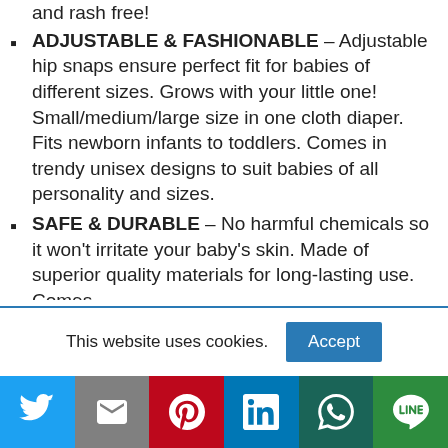and rash free!
ADJUSTABLE & FASHIONABLE – Adjustable hip snaps ensure perfect fit for babies of different sizes. Grows with your little one! Small/medium/large size in one cloth diaper. Fits newborn infants to toddlers. Comes in trendy unisex designs to suit babies of all personality and sizes.
SAFE & DURABLE – No harmful chemicals so it won't irritate your baby's skin. Made of superior quality materials for long-lasting use. Comes
This website uses cookies.
Accept